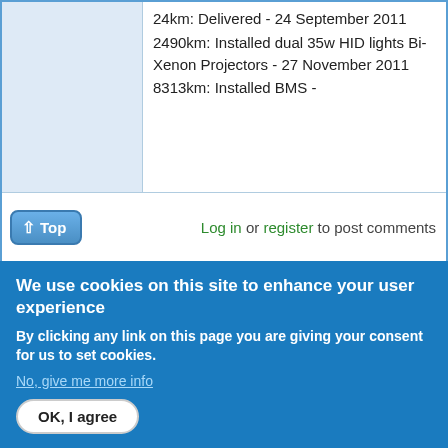24km: Delivered - 24 September 2011
2490km: Installed dual 35w HID lights Bi-Xenon Projectors - 27 November 2011
8313km: Installed BMS -
Log in or register to post comments
We use cookies on this site to enhance your user experience
By clicking any link on this page you are giving your consent for us to set cookies.
No, give me more info
OK, I agree